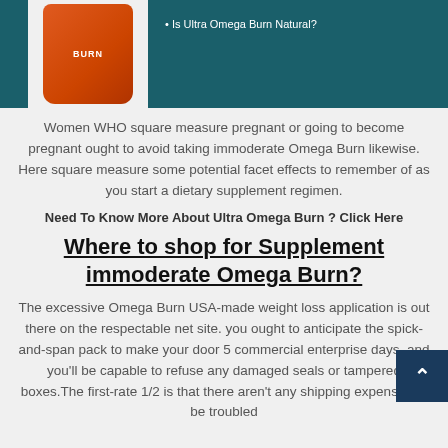[Figure (photo): Product bottle image and bullet point text on teal background. Bullet: Is Ultra Omega Burn Natural?]
Women WHO square measure pregnant or going to become pregnant ought to avoid taking immoderate Omega Burn likewise. Here square measure some potential facet effects to remember of as you start a dietary supplement regimen.
Need To Know More About Ultra Omega Burn ? Click Here
Where to shop for Supplement immoderate Omega Burn?
The excessive Omega Burn USA-made weight loss application is out there on the respectable net site. you ought to anticipate the spick-and-span pack to make your door 5 commercial enterprise days, and you'll be capable to refuse any damaged seals or tampered boxes.The first-rate 1/2 is that there aren't any shipping expenses to be troubled